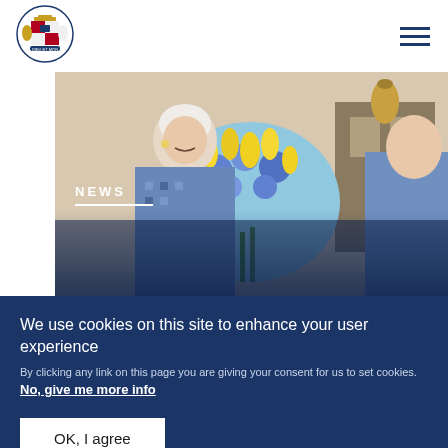[Figure (logo): Royal Coat of Arms logo, blue and gold, top left navigation]
[Figure (photo): Elderly Queen Elizabeth II smiling, holding a large bouquet of yellow and blue flowers, with a man in a blue suit to her right, indoor royal setting]
NEWS
The Royal Week 5-11 March 2022
We use cookies on this site to enhance your user experience
By clicking any link on this page you are giving your consent for us to set cookies. No, give me more info
OK, I agree